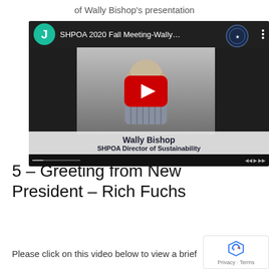of Wally Bishop's presentation
[Figure (screenshot): YouTube video thumbnail showing SHPOA 2020 Fall Meeting - Wally Bishop presentation with a man visible in the video frame, a red play button overlay, and bottom text showing 'Wally Bishop / SHPOA Director of Sustainability']
5 – Greeting from New President – Rich Fuchs
Please click on this video below to view a brief